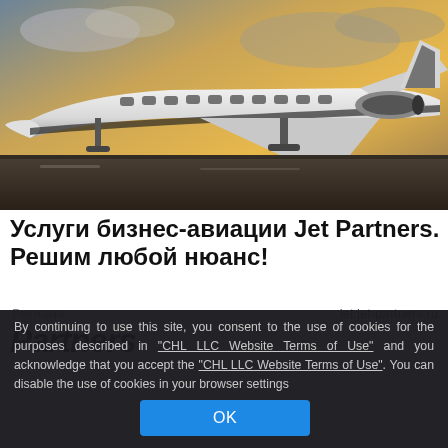[Figure (photo): A white private business jet (Bombardier Global series) parked on a tarmac at sunset/dusk with golden-orange sky and clouds in the background.]
Услуги бизнес-авиации Jet Partners. Решим любой нюанс!
Реклама
jet.jet-partners.ru
Partners
By continuing to use this site, you consent to the use of cookies for the purposes described in "CHL LLC Website Terms of Use" and you acknowledge that you accept the "CHL LLC Website Terms of Use". You can disable the use of cookies in your browser settings
OK